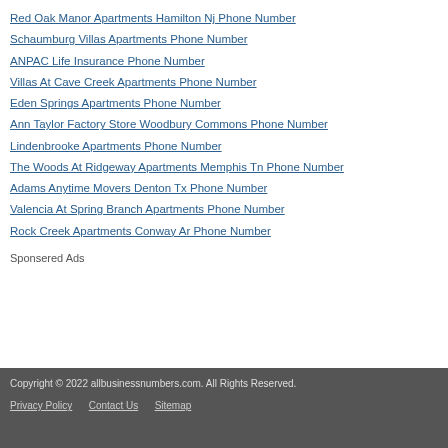Red Oak Manor Apartments Hamilton Nj Phone Number
Schaumburg Villas Apartments Phone Number
ANPAC Life Insurance Phone Number
Villas At Cave Creek Apartments Phone Number
Eden Springs Apartments Phone Number
Ann Taylor Factory Store Woodbury Commons Phone Number
Lindenbrooke Apartments Phone Number
The Woods At Ridgeway Apartments Memphis Tn Phone Number
Adams Anytime Movers Denton Tx Phone Number
Valencia At Spring Branch Apartments Phone Number
Rock Creek Apartments Conway Ar Phone Number
Sponsered Ads
Copyright © 2022 allbusinessnumbers.com. All Rights Reserved. Privacy Policy  Contact Us  Sitemap